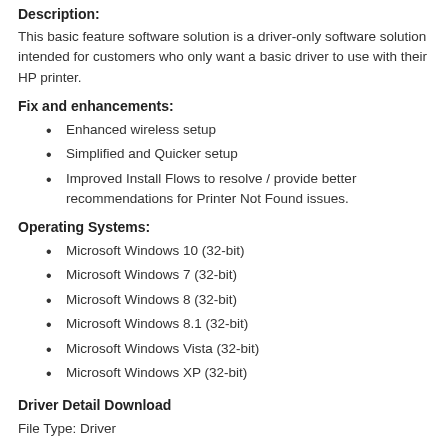Description:
This basic feature software solution is a driver-only software solution intended for customers who only want a basic driver to use with their HP printer.
Fix and enhancements:
Enhanced wireless setup
Simplified and Quicker setup
Improved Install Flows to resolve / provide better recommendations for Printer Not Found issues.
Operating Systems:
Microsoft Windows 10 (32-bit)
Microsoft Windows 7 (32-bit)
Microsoft Windows 8 (32-bit)
Microsoft Windows 8.1 (32-bit)
Microsoft Windows Vista (32-bit)
Microsoft Windows XP (32-bit)
Driver Detail Download
File Type: Driver